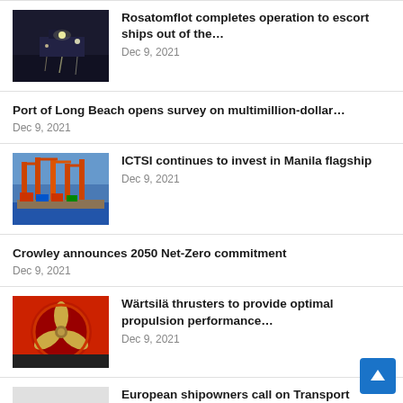[Figure (photo): Night scene of ships with lights on water]
Rosatomflot completes operation to escort ships out of the…
Dec 9, 2021
Port of Long Beach opens survey on multimillion-dollar…
Dec 9, 2021
[Figure (photo): Port cranes and cargo containers]
ICTSI continues to invest in Manila flagship
Dec 9, 2021
Crowley announces 2050 Net-Zero commitment
Dec 9, 2021
[Figure (photo): Red ship thruster/propeller machinery]
Wärtsilä thrusters to provide optimal propulsion performance…
Dec 9, 2021
[Figure (photo): Light grey placeholder image]
European shipowners call on Transport ministers to fix…
Dec 9, 2021